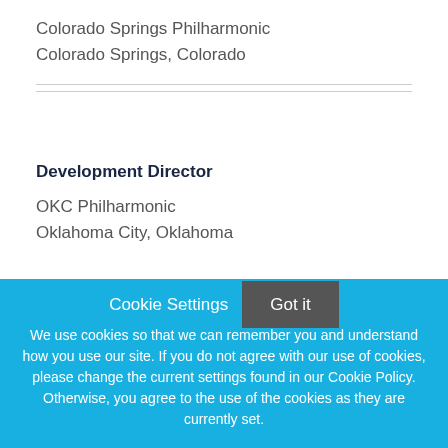Colorado Springs Philharmonic
Colorado Springs, Colorado
Development Director
OKC Philharmonic
Oklahoma City, Oklahoma
Cookie Settings
Got it
We use cookies so that we can remember you and understand how you use our site. If you do not agree with our use of cookies, please change the current settings found in our Cookie Policy. Otherwise, you agree to the use of the cookies as they are currently set.